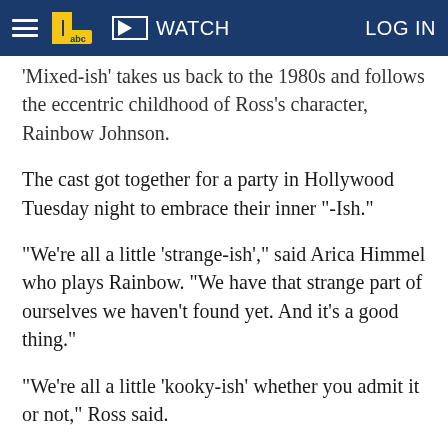WATCH | LOG IN
'Mixed-ish' takes us back to the 1980s and follows the eccentric childhood of Ross's character, Rainbow Johnson.
The cast got together for a party in Hollywood Tuesday night to embrace their inner "-Ish."
"We're all a little 'strange-ish'," said Arica Himmel who plays Rainbow. "We have that strange part of ourselves we haven't found yet. And it's a good thing."
"We're all a little 'kooky-ish' whether you admit it or not," Ross said.
"Black-ish" and "Mixed-ish" debut for the...